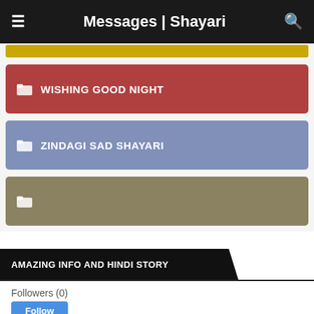Messages | Shayari
WISHING GOOD NIGHT
ZINDAGI SAD SHAYARI
AMAZING INFO AND HINDI STORY
Followers (0)
Follow